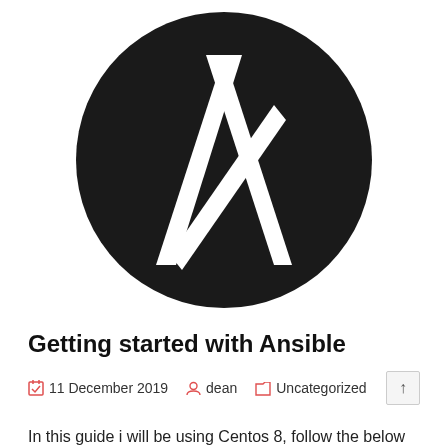[Figure (logo): Ansible logo: large white stylized 'A' letter on a black circle background]
Getting started with Ansible
11 December 2019   dean   Uncategorized
In this guide i will be using Centos 8, follow the below in order to install Ansible on your system.